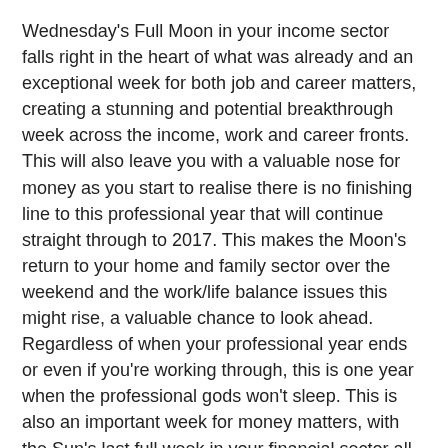Wednesday's Full Moon in your income sector falls right in the heart of what was already and an exceptional week for both job and career matters, creating a stunning and potential breakthrough week across the income, work and career fronts. This will also leave you with a valuable nose for money as you start to realise there is no finishing line to this professional year that will continue straight through to 2017. This makes the Moon's return to your home and family sector over the weekend and the work/life balance issues this might rise, a valuable chance to look ahead. Regardless of when your professional year ends or even if you're working through, this is one year when the professional gods won't sleep. This is also an important week for money matters, with the Sun's last full week in your financial sector all about taking care of any financial housekeeping.
Gemini    Monday 12 December 2016  May 21 - Jun 21
While the Moon is set to have a big impact this week, due to not only the areas of your life this will impact, but the